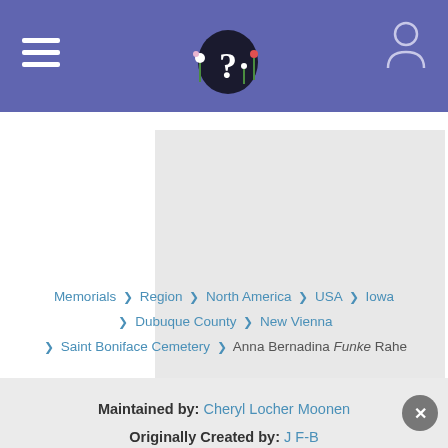FindAGrave header with logo and navigation
[Figure (photo): Gray placeholder rectangle for a memorial photo]
Memorials ❯ Region ❯ North America ❯ USA ❯ Iowa ❯ Dubuque County ❯ New Vienna ❯ Saint Boniface Cemetery ❯ Anna Bernadina Funke Rahe
Maintained by: Cheryl Locher Moonen
Originally Created by: J F-B
Added: 12 Mar 2011